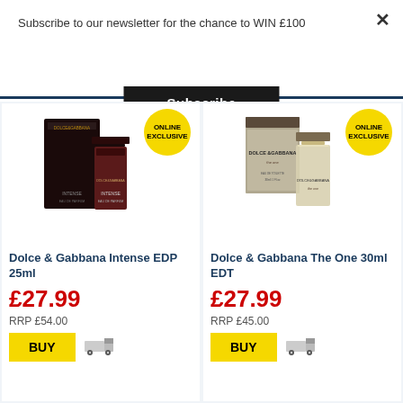Subscribe to our newsletter for the chance to WIN £100
Subscribe
[Figure (photo): Dolce & Gabbana Intense EDP 25ml perfume bottle with box, with ONLINE EXCLUSIVE badge]
Dolce & Gabbana Intense EDP 25ml
£27.99
RRP £54.00
[Figure (photo): Dolce & Gabbana The One 30ml EDT perfume bottle with box, with ONLINE EXCLUSIVE badge]
Dolce & Gabbana The One 30ml EDT
£27.99
RRP £45.00